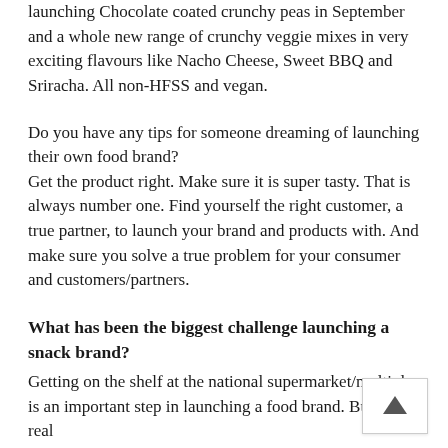launching Chocolate coated crunchy peas in September and a whole new range of crunchy veggie mixes in very exciting flavours like Nacho Cheese, Sweet BBQ and Sriracha. All non-HFSS and vegan.
Do you have any tips for someone dreaming of launching their own food brand? Get the product right. Make sure it is super tasty. That is always number one. Find yourself the right customer, a true partner, to launch your brand and products with. And make sure you solve a true problem for your consumer and customers/partners.
What has been the biggest challenge launching a snack brand?
Getting on the shelf at the national supermarket/multiples is an important step in launching a food brand. But the real